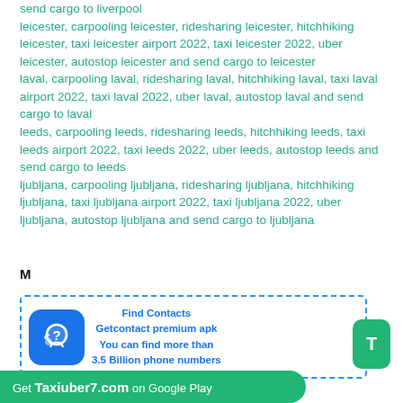send cargo to liverpool
leicester, carpooling leicester, ridesharing leicester, hitchhiking leicester, taxi leicester airport 2022, taxi leicester 2022, uber leicester, autostop leicester and send cargo to leicester
laval, carpooling laval, ridesharing laval, hitchhiking laval, taxi laval airport 2022, taxi laval 2022, uber laval, autostop laval and send cargo to laval
leeds, carpooling leeds, ridesharing leeds, hitchhiking leeds, taxi leeds airport 2022, taxi leeds 2022, uber leeds, autostop leeds and send cargo to leeds
ljubljana, carpooling ljubljana, ridesharing ljubljana, hitchhiking ljubljana, taxi ljubljana airport 2022, taxi ljubljana 2022, uber ljubljana, autostop ljubljana and send cargo to ljubljana
M
[Figure (infographic): Advertisement box with dashed blue border. Contains a blue phone/question mark icon on the left and bold blue text: 'Find Contacts / Getcontact premium apk / You can find more than / 3.5 Billion phone numbers']
Get Taxiuber7.com on Google Play